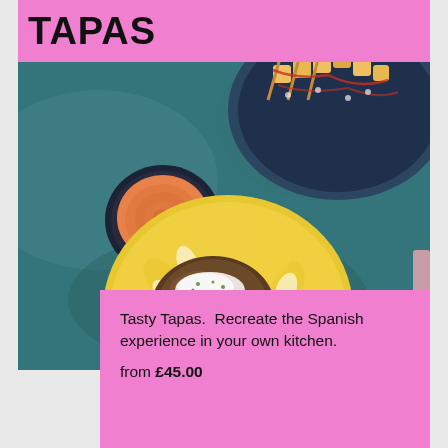TAPAS
[Figure (photo): Overhead view of Spanish tapas dishes on a teal/blue textured surface: a small bowl of orange dipping sauce, a dark blue plate with skewered cheese or potato bites drizzled with red sauce, and a yellow floral-patterned plate with mushroom or meat dish topped with white cream/cheese and herbs.]
Tasty Tapas.  Recreate the Spanish experience in your own kitchen.
from £45.00
LEARN MORE →